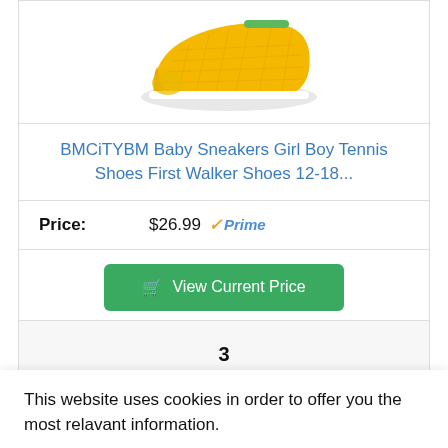[Figure (photo): Yellow mesh baby sneaker shoe on white background, partially cropped at top]
BMCiTYBM Baby Sneakers Girl Boy Tennis Shoes First Walker Shoes 12-18...
Price: $26.99 ✓Prime
View Current Price
3
This website uses cookies in order to offer you the most relavant information.
I understand